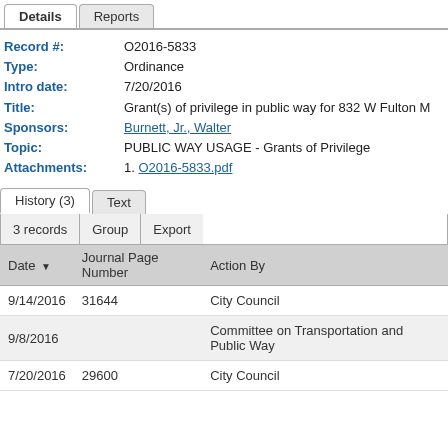Details | Reports (tabs)
Record #: O2016-5833
Type: Ordinance
Intro date: 7/20/2016
Title: Grant(s) of privilege in public way for 832 W Fulton M...
Sponsors: Burnett, Jr., Walter
Topic: PUBLIC WAY USAGE - Grants of Privilege
Attachments: 1. O2016-5833.pdf
History (3) | Text (tabs)
3 records | Group | Export (toolbar)
| Date | Journal Page Number | Action By |
| --- | --- | --- |
| 9/14/2016 | 31644 | City Council |
| 9/8/2016 |  | Committee on Transportation and Public Way |
| 7/20/2016 | 29600 | City Council |